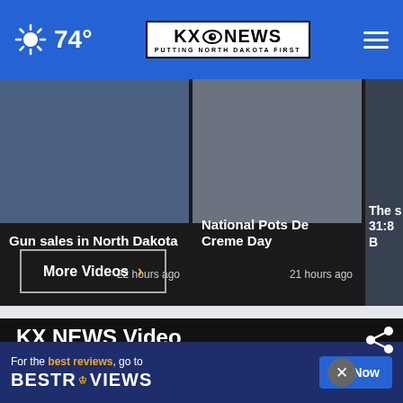74° KX NEWS - PUTTING NORTH DAKOTA FIRST
Gun sales in North Dakota
22 hours ago
National Pots De Creme Day
21 hours ago
The s 31:8 B
More Videos ›
KX NEWS Video
[Figure (screenshot): Video player area with share icon and close button]
For the best reviews, go to BESTREVIEWS Go Now